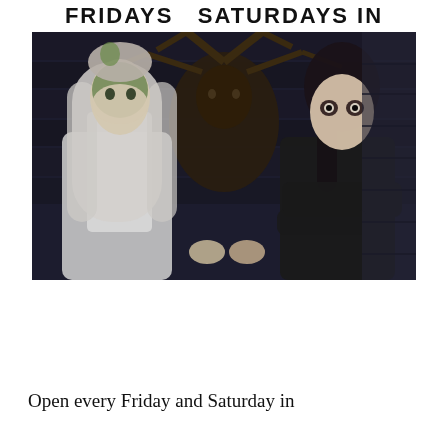FRIDAYS   SATURDAYS IN OCTOBER
[Figure (photo): Two women in Halloween costumes sitting side by side. Left woman has long white-gray hair with green face paint, wearing a white outfit. Right woman has dark hair and dark eye makeup wearing a black outfit. Between them in the background is a dark creature/goat figure with large claws. Background is dark wooden boards.]
Terror at Tyrol, Tyrol Basin
Photo Credit: Tyrol Basin
Open every Friday and Saturday in